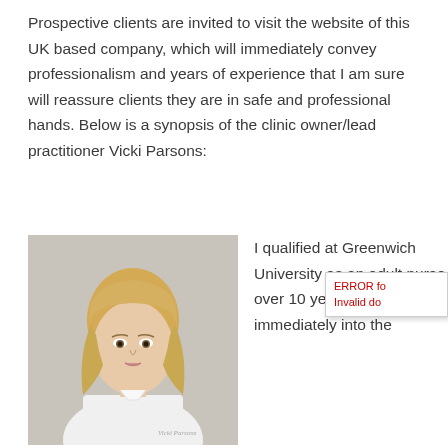Prospective clients are invited to visit the website of this UK based company, which will immediately convey professionalism and years of experience that I am sure will reassure clients they are in safe and professional hands. Below is a synopsis of the clinic owner/lead practitioner Vicki Parsons:
[Figure (photo): Professional headshot of a blonde woman in a white uniform, against a light grey background. The clinic logo appears at the bottom right of the image.]
I qualified at Greenwich University as an adult nurse over 10 years ago and went immediately into the